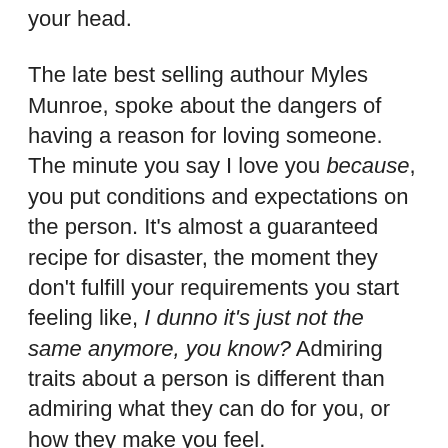your head.
The late best selling authour Myles Munroe, spoke about the dangers of having a reason for loving someone. The minute you say I love you because, you put conditions and expectations on the person. It's almost a guaranteed recipe for disaster, the moment they don't fulfill your requirements you start feeling like, I dunno it's just not the same anymore, you know? Admiring traits about a person is different than admiring what they can do for you, or how they make you feel.
You should love because you made a conscious decision.
You should love because that specific person was created and there is no one else like them in the